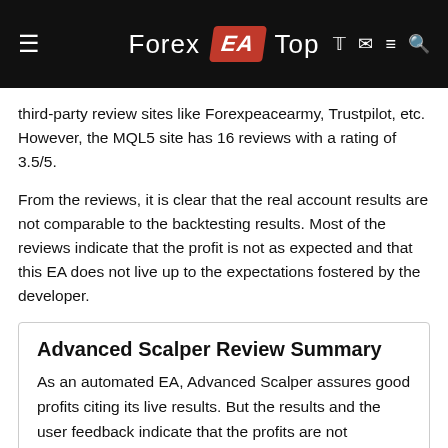Forex EA Top
third-party review sites like Forexpeacearmy, Trustpilot, etc. However, the MQL5 site has 16 reviews with a rating of 3.5/5.
From the reviews, it is clear that the real account results are not comparable to the backtesting results. Most of the reviews indicate that the profit is not as expected and that this EA does not live up to the expectations fostered by the developer.
Advanced Scalper Review Summary
As an automated EA, Advanced Scalper assures good profits citing its live results. But the results and the user feedback indicate that the profits are not appreciable. The lack of strategy explanation and failure of the developer to provide proper support and guidance prevent this EA from being an effective FX